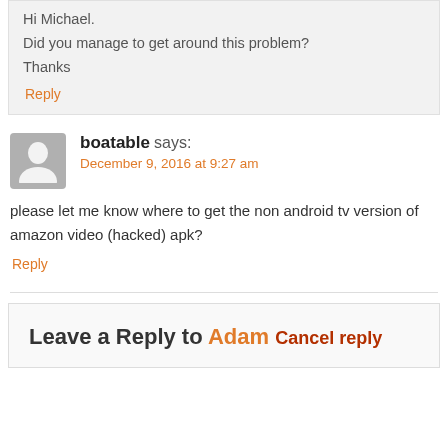Hi Michael.
Did you manage to get around this problem?
Thanks
Reply
boatable says:
December 9, 2016 at 9:27 am
please let me know where to get the non android tv version of amazon video (hacked) apk?
Reply
Leave a Reply to Adam Cancel reply